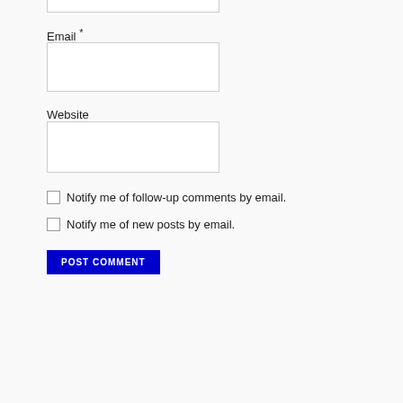[Figure (screenshot): Partial top input box (cut off at top of page)]
Email *
[Figure (screenshot): Email text input field, empty, with light border]
Website
[Figure (screenshot): Website text input field, empty, with light border]
Notify me of follow-up comments by email.
Notify me of new posts by email.
[Figure (screenshot): POST COMMENT button, blue background, white uppercase text]